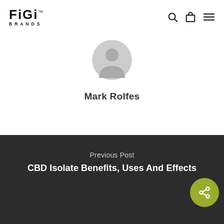[Figure (logo): FiGi Brands logo with TM mark]
[Figure (illustration): Gray circular default user avatar icon]
Mark Rolfes
Previous Post
CBD Isolate Benefits, Uses And Effects